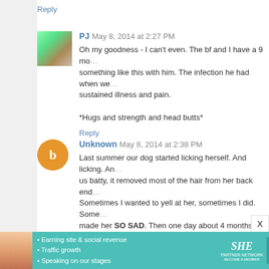Reply
PJ  May 8, 2014 at 2:27 PM
Oh my goodness - I can't even. The bf and I have a 9 mo... something like this with him. The infection he had when we... sustained illness and pain.

*Hugs and strength and head butts*
Reply
Unknown  May 8, 2014 at 2:38 PM
Last summer our dog started licking herself. And licking. An... us batty, it removed most of the hair from her back end... Sometimes I wanted to yell at her, sometimes I did. Some... made her SO SAD. Then one day about 4 months ago, we... she seemed happier and calmer--still anxious, but not as ba... don't know why, or what we will do this time--but we will k... calmer about it.
Reply
[Figure (infographic): SHE Partner Network advertisement banner with a woman's photo, bullet points about earning site & social revenue, traffic growth, speaking on stages, SHE logo, and a LEARN MORE button]